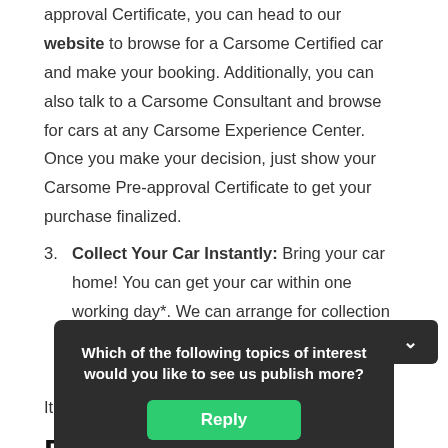approval Certificate, you can head to our website to browse for a Carsome Certified car and make your booking. Additionally, you can also talk to a Carsome Consultant and browse for cars at any Carsome Experience Center. Once you make your decision, just show your Carsome Pre-approval Certificate to get your purchase finalized.
3. Collect Your Car Instantly: Bring your car home! You can get your car within one working day*. We can arrange for collection at a Carsome Experience Center, or deliver it straight to your doorstep.
It's that easy!
Buy a
With ple... ertified
[Figure (screenshot): Dark popup overlay with text 'Which of the following topics of interest would you like to see us publish more?' and a green Reply button, with a chevron/down arrow button at top right.]